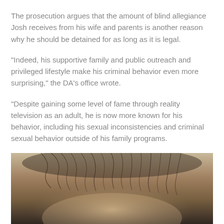The prosecution argues that the amount of blind allegiance Josh receives from his wife and parents is another reason why he should be detained for as long as it is legal.
“Indeed, his supportive family and public outreach and privileged lifestyle make his criminal behavior even more surprising,” the DA’s office wrote.
“Despite gaining some level of fame through reality television as an adult, he is now more known for his behavior, including his sexual inconsistencies and criminal sexual behavior outside of his family programs.
[Figure (photo): Partial photo showing the top of a person's head with hair, dimly lit background]